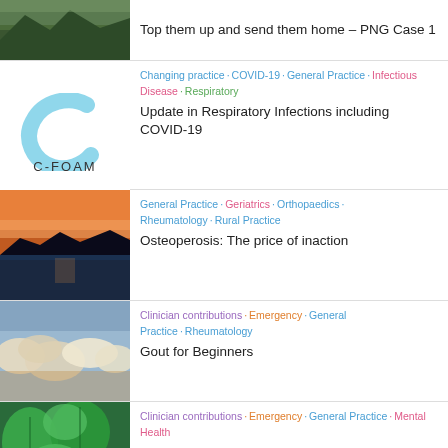[Figure (photo): Partial mountain/landscape aerial photo (top of page, cropped)]
Top them up and send them home – PNG Case 1
[Figure (logo): C-FOAM logo with blue swirling C and text C-FOAM]
Changing practice · COVID-19 · General Practice · Infectious Disease · Respiratory
Update in Respiratory Infections including COVID-19
[Figure (photo): Sunset over water with silhouetted hills]
General Practice · Geriatrics · Orthopaedics · Rheumatology · Rural Practice
Osteoperosis: The price of inaction
[Figure (photo): Clouds from above, lit with warm light]
Clinician contributions · Emergency · General Practice · Rheumatology
Gout for Beginners
[Figure (photo): Green tropical leaves close-up]
Clinician contributions · Emergency · General Practice · Mental Health
Assessment and Management of Suicide Risk